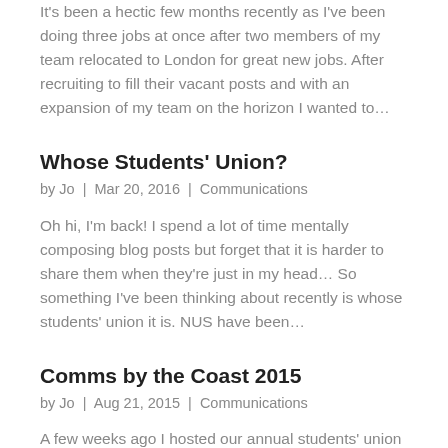It's been a hectic few months recently as I've been doing three jobs at once after two members of my team relocated to London for great new jobs. After recruiting to fill their vacant posts and with an expansion of my team on the horizon I wanted to...
Whose Students' Union?
by Jo | Mar 20, 2016 | Communications
Oh hi, I'm back! I spend a lot of time mentally composing blog posts but forget that it is harder to share them when they're just in my head… So something I've been thinking about recently is whose students' union it is. NUS have been...
Comms by the Coast 2015
by Jo | Aug 21, 2015 | Communications
A few weeks ago I hosted our annual students' union